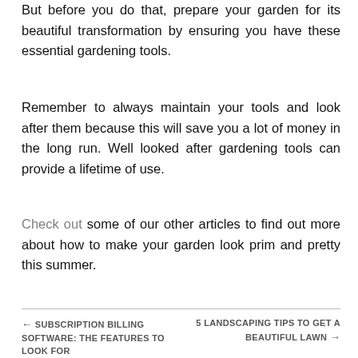But before you do that, prepare your garden for its beautiful transformation by ensuring you have these essential gardening tools.
Remember to always maintain your tools and look after them because this will save you a lot of money in the long run. Well looked after gardening tools can provide a lifetime of use.
Check out some of our other articles to find out more about how to make your garden look prim and pretty this summer.
← SUBSCRIPTION BILLING SOFTWARE: THE FEATURES TO LOOK FOR    5 LANDSCAPING TIPS TO GET A BEAUTIFUL LAWN →